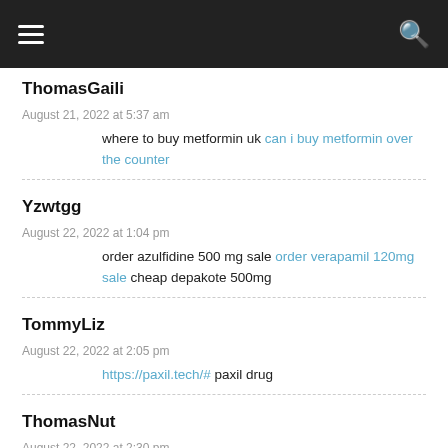ThomasGaili
August 21, 2022 at 5:37 am
where to buy metformin uk can i buy metformin over the counter
Yzwtgg
August 22, 2022 at 1:04 pm
order azulfidine 500 mg sale order verapamil 120mg sale cheap depakote 500mg
TommyLiz
August 22, 2022 at 2:05 pm
https://paxil.tech/# paxil drug
ThomasNut
August 22, 2022 at 2:30 pm